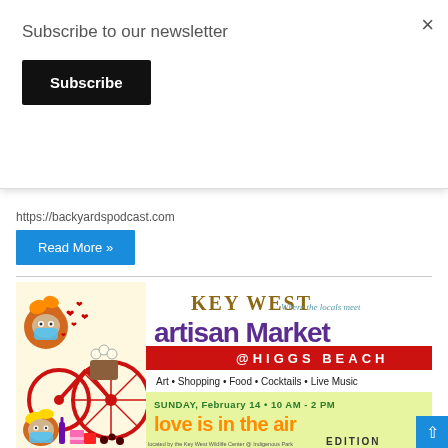Subscribe to our newsletter
Subscribe
×
https://backyardspodcast.com
Read More »
[Figure (illustration): Key West Artisan Market promotional poster: 'KEY WEST artisan Market @HIGGS BEACH • Art • Shopping • Food • Cocktails • Live Music • SUNDAY, February 14 • 10 AM - 2 [PM] • LOVE IS IN THE AIR EDITION • Where the locals meet'. Features cartoon owl/bear characters wearing masks on a bicycle with flowers and hearts.]